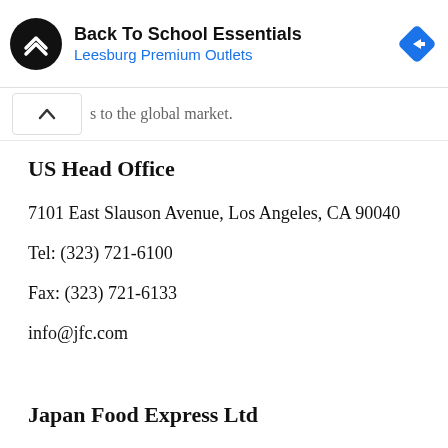[Figure (screenshot): Advertisement banner for 'Back To School Essentials' at Leesburg Premium Outlets, with a circular black logo with white arrows, blue heading text, and a blue diamond navigation icon on the right.]
s to the global market.
US Head Office
7101 East Slauson Avenue, Los Angeles, CA 90040
Tel: (323) 721-6100
Fax: (323) 721-6133
info@jfc.com
Japan Food Express Ltd